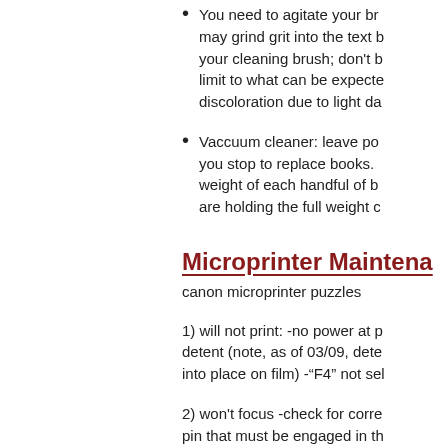You need to agitate your br may grind grit into the text b your cleaning brush; don't b limit to what can be expecte discoloration due to light da
Vaccuum cleaner: leave po you stop to replace books. weight of each handful of b are holding the full weight c
Microprinter Maintena
canon microprinter puzzles
1) will not print: -no power at p detent (note, as of 03/09, dete into place on film) -“F4” not sel
2) won't focus -check for corre pin that must be engaged in th